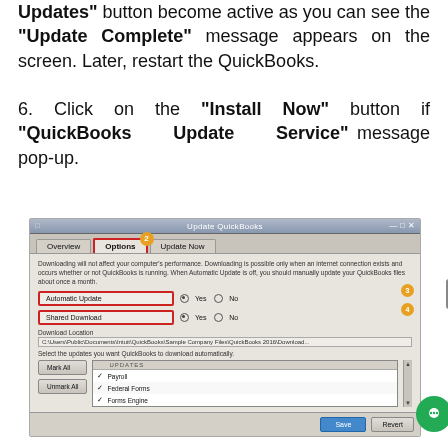Updates" button become active as you can see the "Update Complete" message appears on the screen. Later, restart the QuickBooks.
6. Click on the "Install Now" button if "QuickBooks Update Service" message pop-up.
[Figure (screenshot): Screenshot of the Update QuickBooks dialog box showing tabs: Overview, Options (selected, annotated with badge 2), Update Now. Options tab content shows Automatic Update row (annotated with badge 3) with Yes/No radio buttons, Shared Download row (annotated with badge 4) with Yes/No radio buttons, Download Location path, and a list of updates including Payroll, Federal Forms, Forms Engine. Bottom has Save and Revert buttons. A navigation arrow and green chat bubble are also visible.]